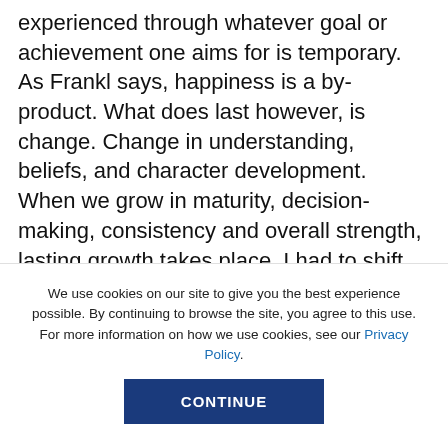experienced through whatever goal or achievement one aims for is temporary. As Frankl says, happiness is a by-product. What does last however, is change. Change in understanding, beliefs, and character development. When we grow in maturity, decision-making, consistency and overall strength, lasting growth takes place. I had to shift the focus for what it was. I had been working in the sewers but immune to the smell.
Take it from someone that had to find out the hard
We use cookies on our site to give you the best experience possible. By continuing to browse the site, you agree to this use. For more information on how we use cookies, see our Privacy Policy.
CONTINUE